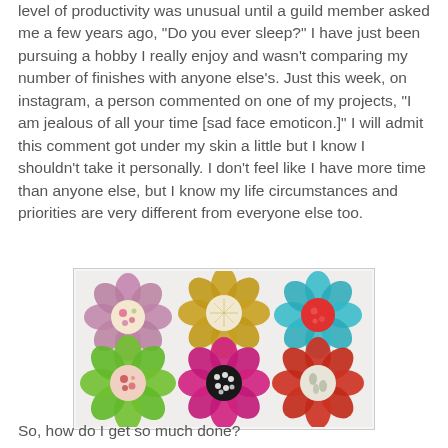level of productivity was unusual until a guild member asked me a few years ago, "Do you ever sleep?"  I have just been pursuing a hobby I really enjoy and wasn't comparing my number of finishes with anyone else's.  Just this week, on instagram, a person commented on one of my projects, "I am jealous of all your time [sad face emoticon.]"  I will admit this comment got under my skin a little but I know I shouldn't take it personally.  I don't feel like I have more time than anyone else, but I know my life circumstances and priorities are very different from everyone else too.
[Figure (photo): Six colorful fabric flowers arranged in two rows of three. Top row: purple/mauve flower, gold/yellow flower, teal chevron with red center flower. Bottom row: bright green flower, hot pink with black polka dot center flower, red patterned with cream center flower.]
So, how do I get so much done?